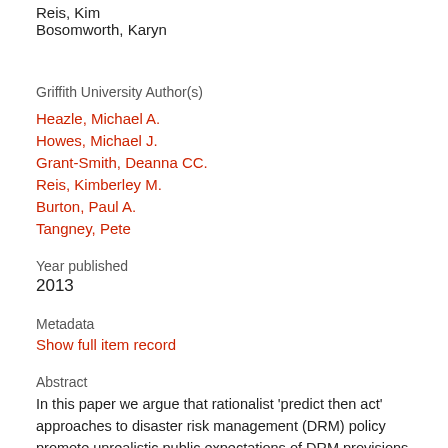Reis, Kim
Bosomworth, Karyn
Griffith University Author(s)
Heazle, Michael A.
Howes, Michael J.
Grant-Smith, Deanna CC.
Reis, Kimberley M.
Burton, Paul A.
Tangney, Pete
Year published
2013
Metadata
Show full item record
Abstract
In this paper we argue that rationalist 'predict then act' approaches to disaster risk management (DRM) policy promote unrealistic public expectations of DRM provisions, the avoidance of decision making by political elites, an over-reliance on technical expertise